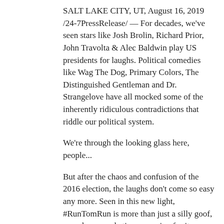SALT LAKE CITY, UT, August 16, 2019 /24-7PressRelease/ — For decades, we've seen stars like Josh Brolin, Richard Prior, John Travolta & Alec Baldwin play US presidents for laughs. Political comedies like Wag The Dog, Primary Colors, The Distinguished Gentleman and Dr. Strangelove have all mocked some of the inherently ridiculous contradictions that riddle our political system.
We're through the looking glass here, people...
But after the chaos and confusion of the 2016 election, the laughs don't come so easy any more. Seen in this new light, #RunTomRun is more than just a silly goof, or a clever marketing campaign for its creators – it also highlights a problem within US politics.
RunTomRun, visible at http://www.runtomrun.com, is a spoof campaign video proposing Tom Cruise for President, is rocketing up the Youtube rankings, collecting 100,000+ views in less than 24 hours with no signs of slowing down. It's a fun and lighthearted 2-